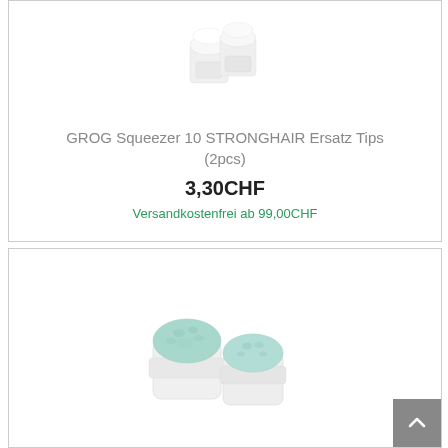[Figure (photo): Two white cylindrical marker tips (GROG Squeezer 10 STRONGHAIR replacement tips, white, 2pcs) shown from above on white background]
GROG Squeezer 10 STRONGHAIR Ersatz Tips (2pcs)
3,30CHF
Versandkostenfrei ab 99,00CHF
[Figure (photo): Two white cylindrical marker tips with teal/mint colored sponge tops (GROG Squeezer replacement tips) shown on white background]